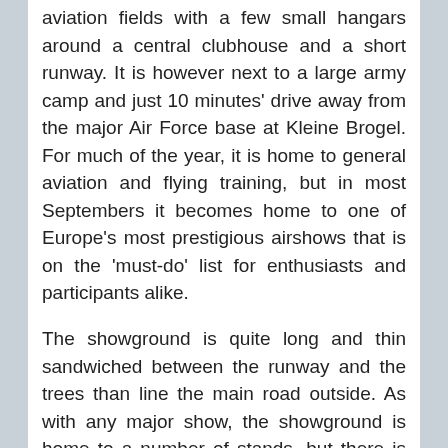aviation fields with a few small hangars around a central clubhouse and a short runway. It is however next to a large army camp and just 10 minutes' drive away from the major Air Force base at Kleine Brogel. For much of the year, it is home to general aviation and flying training, but in most Septembers it becomes home to one of Europe's most prestigious airshows that is on the 'must-do' list for enthusiasts and participants alike.
The showground is quite long and thin sandwiched between the runway and the trees than line the main road outside. As with any major show, the showground is home to a number of stands, but there is definitely much more emphasis on aviation than seen at UK shows. Two areas that stood out this year were exhibition areas for Eurofighter Typhoon and Rafale International. Belgium is currently weighing up its options to replace its aging F-16 fleet. The